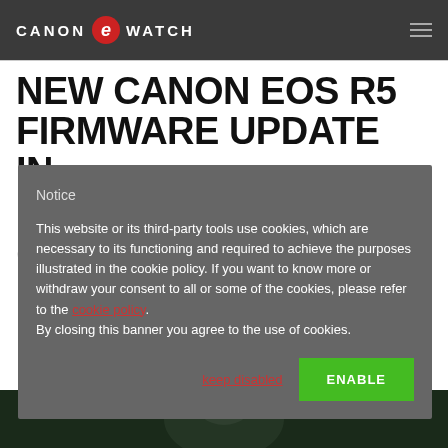CANON WATCH
NEW CANON EOS R5 FIRMWARE UPDATE IN FEBRUARY 2021 (MORE
Notice

This website or its third-party tools use cookies, which are necessary to its functioning and required to achieve the purposes illustrated in the cookie policy. If you want to know more or withdraw your consent to all or some of the cookies, please refer to the cookie policy. By closing this banner you agree to the use of cookies.
keep disabled
ENABLE